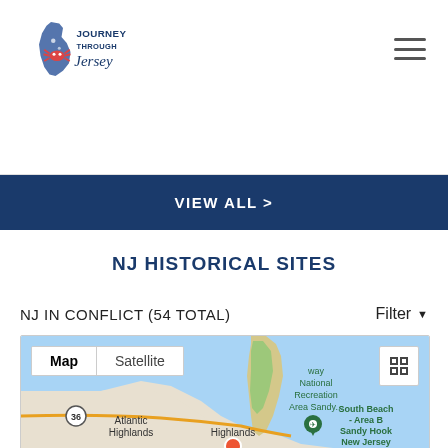[Figure (logo): Journey Through Jersey logo with crab mascot and state outline in blue and orange]
VIEW ALL >
NJ HISTORICAL SITES
NJ IN CONFLICT (54 TOTAL)
Filter ▾
[Figure (map): Google Map showing Sandy Hook / Gateway National Recreation Area in New Jersey, with Map/Satellite toggle. Shows Atlantic Highlands, Highlands, South Beach - Area B Sandy Hook New Jersey location marker, and an orange marker near Highlands. Route 36 visible.]